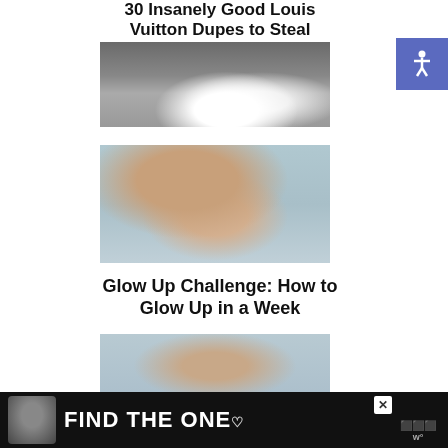30 Insanely Good Louis Vuitton Dupes to Steal
[Figure (photo): Overhead view of person wearing white sneakers and white pants on dark ground]
[Figure (photo): Young woman with long brown hair, eyes closed, smiling, wearing white dress outdoors]
Glow Up Challenge: How to Glow Up in a Week
[Figure (photo): Young woman with long brown hair, wearing white dress, posing outdoors]
[Figure (photo): Advertisement banner with dog image and text FIND THE ONE with heart icon]
[Figure (logo): Accessibility icon on blue background, top right corner]
FIND THE ONE